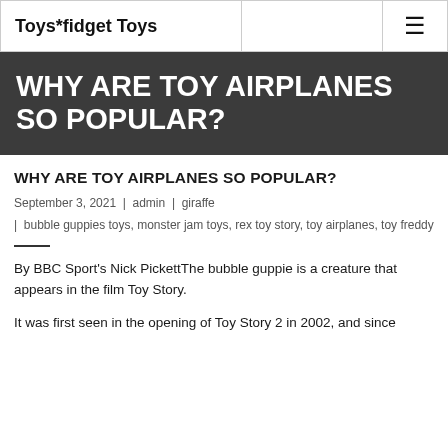Toys*fidget Toys
WHY ARE TOY AIRPLANES SO POPULAR?
WHY ARE TOY AIRPLANES SO POPULAR?
September 3, 2021 | admin | giraffe
| bubble guppies toys, monster jam toys, rex toy story, toy airplanes, toy freddy
By BBC Sport's Nick PickettThe bubble guppie is a creature that appears in the film Toy Story.
It was first seen in the opening of Toy Story 2 in 2002, and since